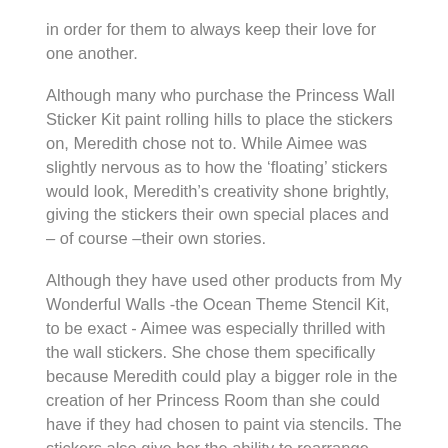in order for them to always keep their love for one another.
Although many who purchase the Princess Wall Sticker Kit paint rolling hills to place the stickers on, Meredith chose not to. While Aimee was slightly nervous as to how the ‘floating’ stickers would look, Meredith’s creativity shone brightly, giving the stickers their own special places and – of course –their own stories.
Although they have used other products from My Wonderful Walls -the Ocean Theme Stencil Kit, to be exact - Aimee was especially thrilled with the wall stickers. She chose them specifically because Meredith could play a bigger role in the creation of her Princess Room than she could have if they had chosen to paint via stencils. The stickers also give her the ability to rearrange them as her imagination grows and changes.
Working together on the project, Aimee found that this was the perfect opportunity for Meredith to be a part of her room makeover. Although she needed her mother’s help placing some of the larger stickers, such as the Castle, Meredith was able to quickly place the smaller stickers - and remove them and reapply them as much as she wanted without them losing their “stick.” Once the